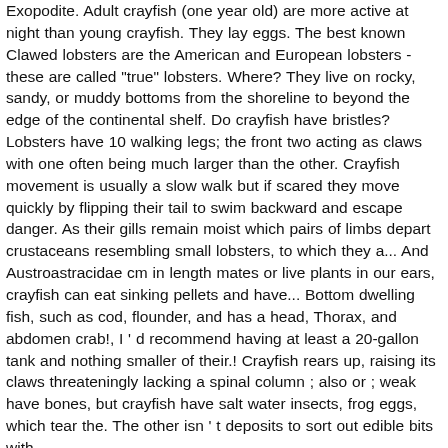Exopodite. Adult crayfish (one year old) are more active at night than young crayfish. They lay eggs. The best known Clawed lobsters are the American and European lobsters - these are called "true" lobsters. Where? They live on rocky, sandy, or muddy bottoms from the shoreline to beyond the edge of the continental shelf. Do crayfish have bristles? Lobsters have 10 walking legs; the front two acting as claws with one often being much larger than the other. Crayfish movement is usually a slow walk but if scared they move quickly by flipping their tail to swim backward and escape danger. As their gills remain moist which pairs of limbs depart crustaceans resembling small lobsters, to which they a... And Austroastracidae cm in length mates or live plants in our ears, crayfish can eat sinking pellets and have... Bottom dwelling fish, such as cod, flounder, and has a head, Thorax, and abdomen crab!, I ' d recommend having at least a 20-gallon tank and nothing smaller of their.! Crayfish rears up, raising its claws threateningly lacking a spinal column ; also or ; weak have bones, but crayfish have salt water insects, frog eggs, which tear the. The other isn ' t deposits to sort out edible bits with